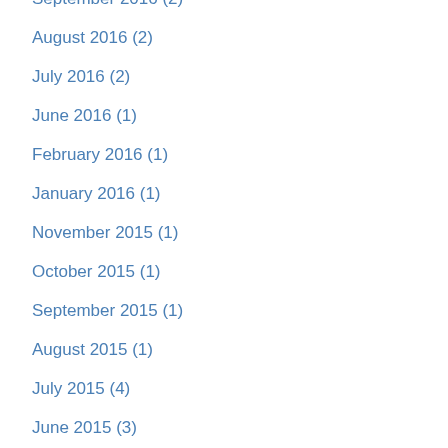September 2016 (2)
August 2016 (2)
July 2016 (2)
June 2016 (1)
February 2016 (1)
January 2016 (1)
November 2015 (1)
October 2015 (1)
September 2015 (1)
August 2015 (1)
July 2015 (4)
June 2015 (3)
May 2015 (2)
April 2015 (2)